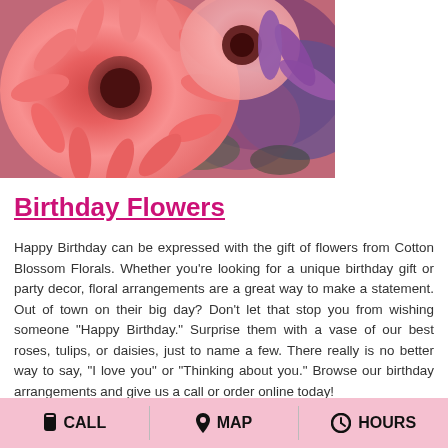[Figure (photo): Close-up photo of pink and coral gerbera daisies with purple flowers in the background, serving as a decorative floral header image.]
Birthday Flowers
Happy Birthday can be expressed with the gift of flowers from Cotton Blossom Florals. Whether you're looking for a unique birthday gift or party decor, floral arrangements are a great way to make a statement. Out of town on their big day? Don't let that stop you from wishing someone "Happy Birthday." Surprise them with a vase of our best roses, tulips, or daisies, just to name a few. There really is no better way to say, "I love you" or "Thinking about you." Browse our birthday arrangements and give us a call or order online today!
CALL   MAP   HOURS